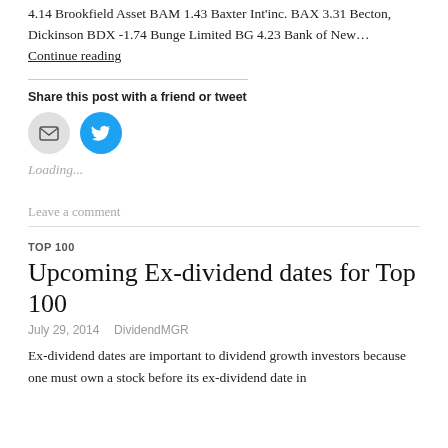4.14 Brookfield Asset BAM 1.43 Baxter Int'inc. BAX 3.31 Becton, Dickinson BDX -1.74 Bunge Limited BG 4.23 Bank of New… Continue reading
Share this post with a friend or tweet
[Figure (illustration): Email icon (grey circle) and Twitter bird icon (blue circle)]
Loading...
Leave a comment
TOP 100
Upcoming Ex-dividend dates for Top 100
July 29, 2014   DividendMGR
Ex-dividend dates are important to dividend growth investors because one must own a stock before its ex-dividend date in